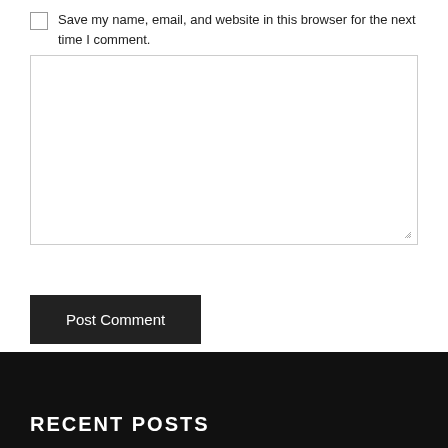Save my name, email, and website in this browser for the next time I comment.
[Figure (other): A large empty text area input box with a resize handle in the bottom-right corner]
Post Comment
RECENT POSTS